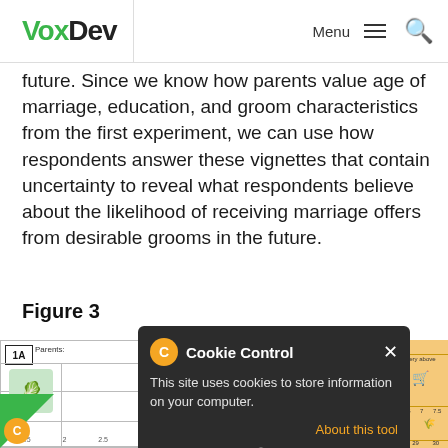VoxDev | Menu | Search
future. Since we know how parents value age of marriage, education, and groom characteristics from the first experiment, we can use how respondents answer these vignettes that contain uncertainty to reveal what respondents believe about the likelihood of receiving marriage offers from desirable grooms in the future.
Figure 3
[Figure (other): Figure 3 image showing survey vignette panels (partially obscured by Cookie Control popup). Panel 1A shows parents rating marriage prospects with visual scales and icons. Right side shows orange-background vignette with marriage quality scale from 1.5 to 7.5 and numbered rows 21-30.]
Cookie Control — This site uses cookies to store information on your computer. About this tool | read more | [reject button]